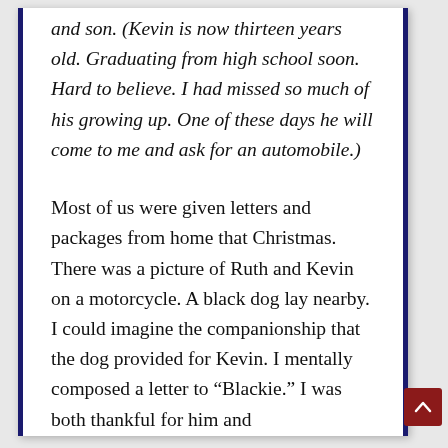and son. (Kevin is now thirteen years old. Graduating from high school soon. Hard to believe. I had missed so much of his growing up. One of these days he will come to me and ask for an automobile.)
Most of us were given letters and packages from home that Christmas. There was a picture of Ruth and Kevin on a motorcycle. A black dog lay nearby. I could imagine the companionship that the dog provided for Kevin. I mentally composed a letter to “Blackie.” I was both thankful for him and